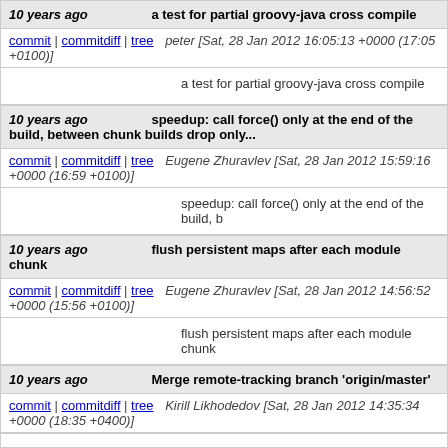10 years ago   a test for partial groovy-java cross compile
commit | commitdiff | tree   peter [Sat, 28 Jan 2012 16:05:13 +0000 (17:05 +0100)]
a test for partial groovy-java cross compile
10 years ago   speedup: call force() only at the end of the build, between chunk builds drop only...
commit | commitdiff | tree   Eugene Zhuravlev [Sat, 28 Jan 2012 15:59:16 +0000 (16:59 +0100)]
speedup: call force() only at the end of the build, b
10 years ago   flush persistent maps after each module chunk
commit | commitdiff | tree   Eugene Zhuravlev [Sat, 28 Jan 2012 14:56:52 +0000 (15:56 +0100)]
flush persistent maps after each module chunk
10 years ago   Merge remote-tracking branch 'origin/master'
commit | commitdiff | tree   Kirill Likhodedov [Sat, 28 Jan 2012 14:35:34 +0000 (18:35 +0400)]